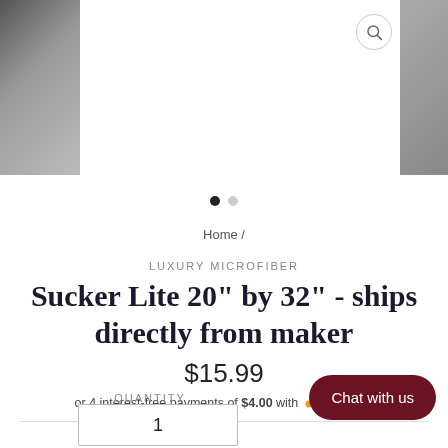[Figure (photo): Product image carousel showing fabric texture, with partial images on left and right edges. Two navigation dots below the images.]
Home /
LUXURY MICROFIBER
Sucker Lite 20" by 32" - ships directly from maker
$15.99
or 4 interest-free payments of $4.00 with  sezzle
QUANTITY
Chat with us